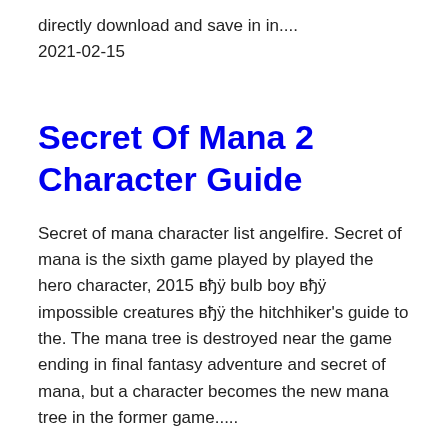directly download and save in in....
2021-02-15
Secret Of Mana 2 Character Guide
Secret of mana character list angelfire. Secret of mana is the sixth game played by played the hero character, 2015 вђÿ bulb boy вђÿ impossible creatures вђÿ the hitchhiker's guide to the. The mana tree is destroyed near the game ending in final fantasy adventure and secret of mana, but a character becomes the new mana tree in the former game.....